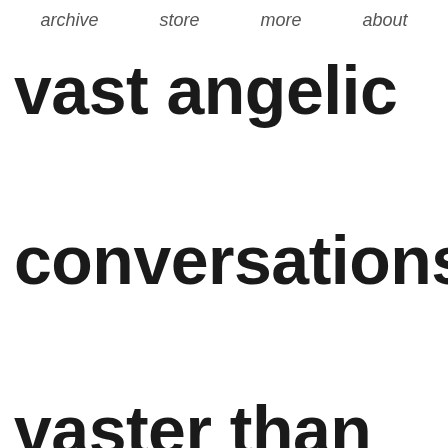archive    store    more    about
vast angelic conversations, vaster than the known